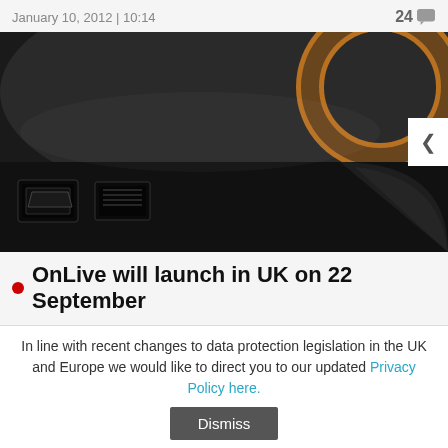January 10, 2012 | 10:14    24
[Figure (photo): Close-up of a black gaming/streaming device (OnLive MicroConsole) showing HDMI and ethernet ports on the back, with an orange circular logo on top. A white navigation arrow panel is visible on the right side.]
OnLive will launch in UK on 22 September
OnLive has announced that it will launch its Cloud-base gaming service in the UK on 22 September 2011, at the Eurogamer Expo.
August 11, 2011 | 08:05    29
In line with recent changes to data protection legislation in the UK and Europe we would like to direct you to our updated Privacy Policy here.